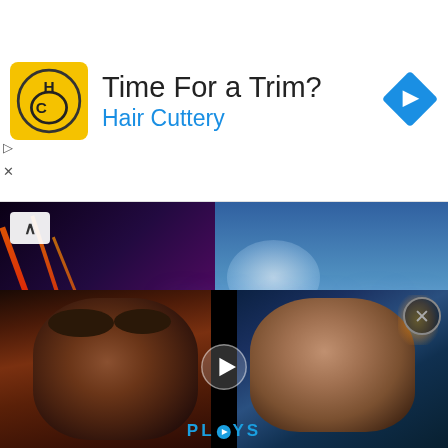[Figure (screenshot): Advertisement banner for Hair Cuttery with logo, title 'Time For a Trim?', subtitle 'Hair Cuttery', and a blue navigation icon on the right]
[Figure (screenshot): Game banner image with dark fantasy warrior on left and large white italic text 'ZEUGLES' on right against a blue sky background]
Demo Version Zeugles
Boar
Archer Hawk
Blooming Roper
Granilem
Ape
[Figure (screenshot): Video player bar at bottom showing Kratos and Nathan Drake thumbnail with play button and PLAYS logo]